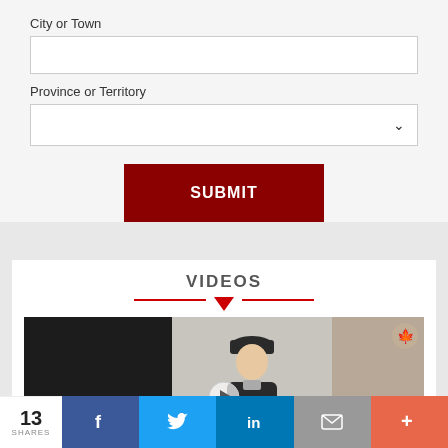City or Town
Province or Territory
SUBMIT
VIDEOS
[Figure (screenshot): Video thumbnail showing a person wearing a winter hat in the center, dark section on the left, blurred section on the right, with a Canadian maple leaf logo in top right corner and a play button at the bottom center]
13 SHARES